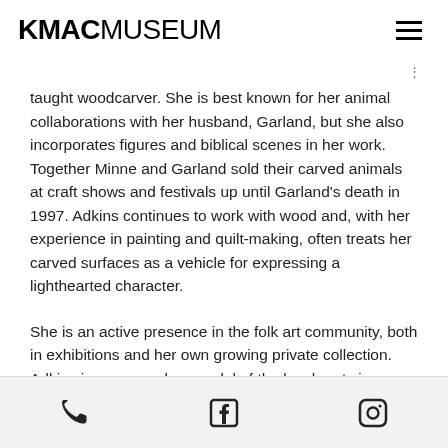KMAC MUSEUM
taught woodcarver. She is best known for her animal collaborations with her husband, Garland, but she also incorporates figures and biblical scenes in her work. Together Minne and Garland sold their carved animals at craft shows and festivals up until Garland's death in 1997. Adkins continues to work with wood and, with her experience in painting and quilt-making, often treats her carved surfaces as a vehicle for expressing a lighthearted character.
She is an active presence in the folk art community, both in exhibitions and her own growing private collection. Adkins is an exemplary model of the local roots in
phone | facebook | instagram